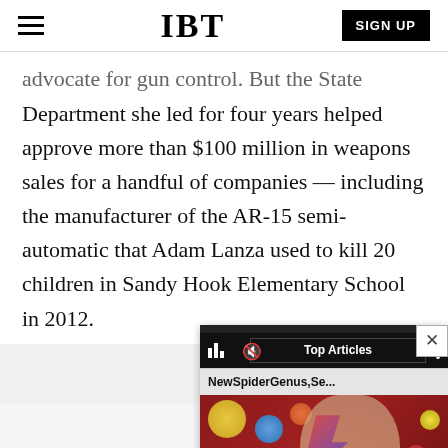IBT | SIGN UP
advocate for gun control. But the State Department she led for four years helped approve more than $100 million in weapons sales for a handful of companies — including the manufacturer of the AR-15 semi-automatic that Adam Lanza used to kill 20 children in Sandy Hook Elementary School in 2012.
[Figure (screenshot): Video player overlay showing Top Articles widget with 'NewSpiderGenus,Se...' label, over a colorful background with David Bowie imagery and floating spheres]